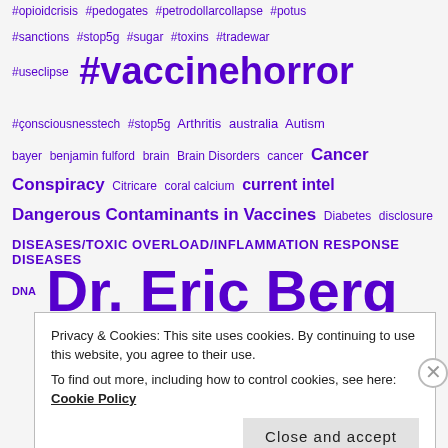#opioidcrisis #pedogates #petrodollarcollapse #potus
#sanctions #stop5g #sugar #toxins #tradewar
#useclipse #vaccinehorror
#consciousnesstech #stop5g Arthritis australia Autism
bayer benjamin fulford brain Brain Disorders cancer Cancer
Conspiracy Citricare coral calcium current intel
Dangerous Contaminants in Vaccines Diabetes disclosure
DISEASES/TOXIC OVERLOAD/INFLAMMATION RESPONSE DISEASES
DNA Dr. Eric Berg
Privacy & Cookies: This site uses cookies. By continuing to use this website, you agree to their use. To find out more, including how to control cookies, see here: Cookie Policy Close and accept